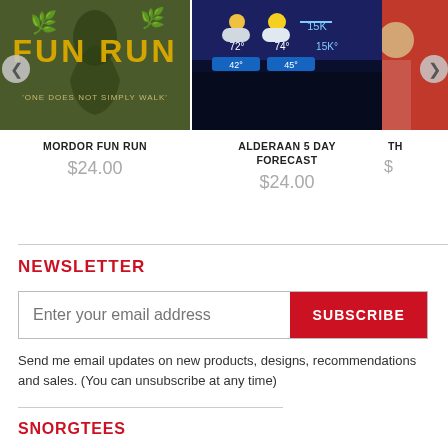[Figure (photo): Mordor Fun Run t-shirt product image on olive green background with yellow text]
MORDOR FUN RUN
$24.00
[Figure (photo): Alderaan 5 Day Forecast t-shirt product image on dark navy background with weather widget]
ALDERAAN 5 DAY FORECAST
$24.00
[Figure (photo): Third product partially visible on red background]
NEWSLETTER
Send me email updates on new products, designs, recommendations and sales. (You can unsubscribe at any time)
SNORGTEES
ABOUT US
FAQ
CONTACT US